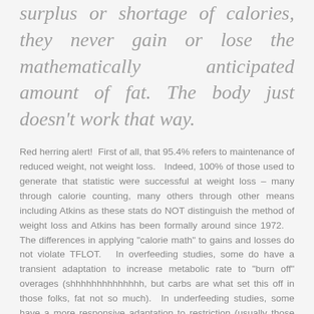surplus or shortage of calories, they never gain or lose the mathematically anticipated amount of fat. The body just doesn't work that way.
Red herring alert!  First of all, that 95.4% refers to maintenance of reduced weight, not weight loss.   Indeed, 100% of those used to generate that statistic were successful at weight loss – many through calorie counting, many others through other means including Atkins as these stats do NOT distinguish the method of weight loss and Atkins has been formally around since 1972.    The differences in applying "calorie math" to gains and losses do not violate TFLOT.   In overfeeding studies, some do have a transient adaptation to increase metabolic rate to "burn off" overages (shhhhhhhhhhhhhh, but carbs are what set this off in those folks, fat not so much).  In underfeeding studies, some have a more responsive adaptation to restriction (usually those who have restricted